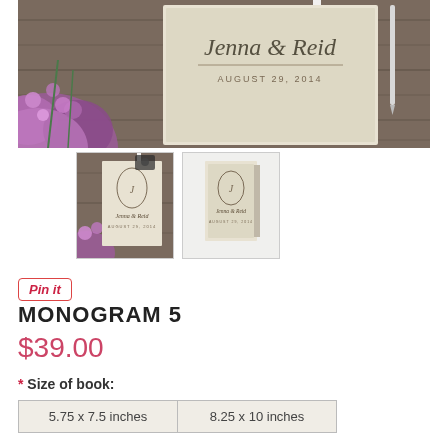[Figure (photo): Main product photo showing a wedding guest book with 'Jenna & Reid AUGUST 29, 2014' text on the cover, placed on a dark wood surface with purple flowers in the lower left corner]
[Figure (photo): First thumbnail showing wedding guest book with monogram design, placed on wood surface with purple flowers and a vintage camera]
[Figure (photo): Second thumbnail showing a standing wedding guest book with monogram design on plain background]
Pin it
MONOGRAM 5
$39.00
* Size of book:
5.75 x 7.5 inches
8.25 x 10 inches